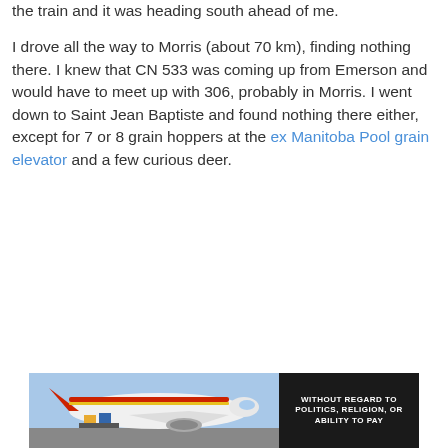the train and it was heading south ahead of me.
I drove all the way to Morris (about 70 km), finding nothing there. I knew that CN 533 was coming up from Emerson and would have to meet up with 306, probably in Morris. I went down to Saint Jean Baptiste and found nothing there either, except for 7 or 8 grain hoppers at the ex Manitoba Pool grain elevator and a few curious deer.
[Figure (photo): Advertisement banner showing a cargo airplane being loaded with freight, with red and yellow livery visible. A dark sidebar reads 'WITHOUT REGARD TO POLITICS, RELIGION, OR ABILITY TO PAY'.]